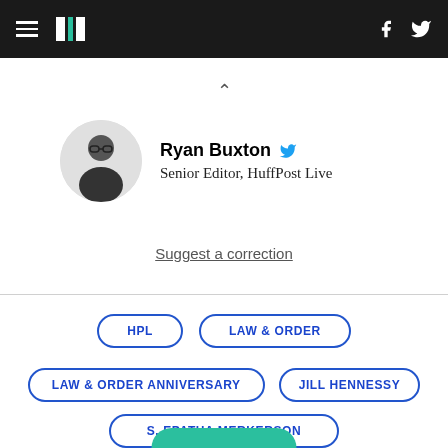HuffPost navigation bar with hamburger menu, logo, Facebook and Twitter icons
^
Ryan Buxton  Senior Editor, HuffPost Live
Suggest a correction
HPL
LAW & ORDER
LAW & ORDER ANNIVERSARY
JILL HENNESSY
S. EPATHA MERKERSON